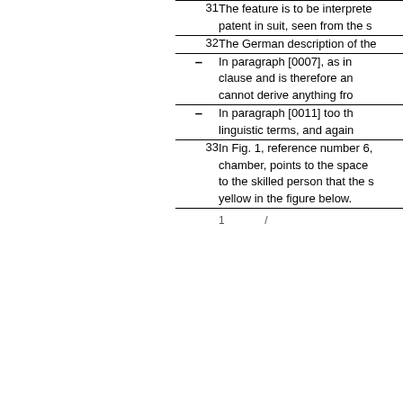31    The feature is to be interpreted patent in suit, seen from the s
32    The German description of the
–    In paragraph [0007], as in clause and is therefore an cannot derive anything fro
–    In paragraph [0011] too th linguistic terms, and again
33    In Fig. 1, reference number 6, chamber, points to the space to the skilled person that the s yellow in the figure below.
1      /